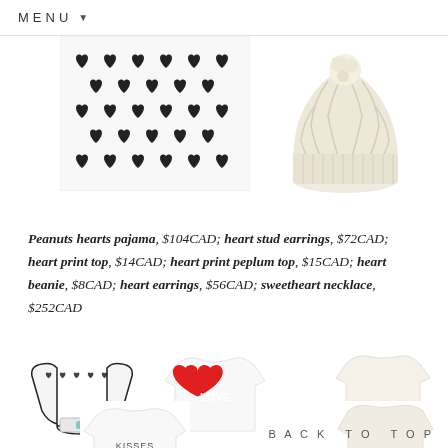MENU
[Figure (photo): White fabric with black heart print pattern (pajama top)]
[Figure (photo): Cream cable-knit beanie hat]
Peanuts hearts pajama, $104CAD; heart stud earrings, $72CAD; heart print top, $14CAD; heart print peplum top, $15CAD; heart beanie, $8CAD; heart earrings, $56CAD; sweetheart necklace, $252CAD
[Figure (photo): Black and white heart-print long sleeve bib]
[Figure (photo): White sweatshirt with red LOVE heart graphic]
[Figure (photo): Cream/ivory plain long sleeve top]
[Figure (photo): White long sleeve shirt with KISSES 25c text]
[Figure (photo): Cream/white long sleeve top, partially visible]
BACK TO TOP